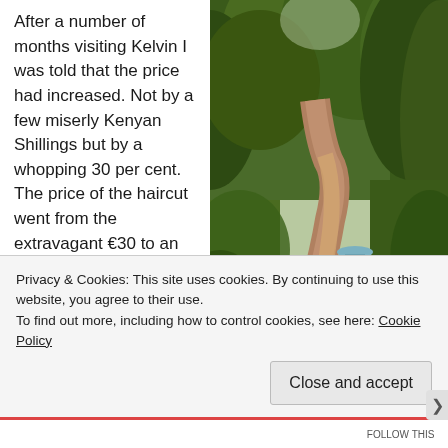After a number of months visiting Kelvin I was told that the price had increased. Not by a few miserly Kenyan Shillings but by a whopping 30 per cent. The price of the haircut went from the extravagant €30 to an outrageous €40, breaking down to €10 a
[Figure (photo): People walking along a green forest path with lush trees on both sides. Two or three hikers visible wearing casual outdoor clothing and hats.]
Privacy & Cookies: This site uses cookies. By continuing to use this website, you agree to their use.
To find out more, including how to control cookies, see here: Cookie Policy
Close and accept